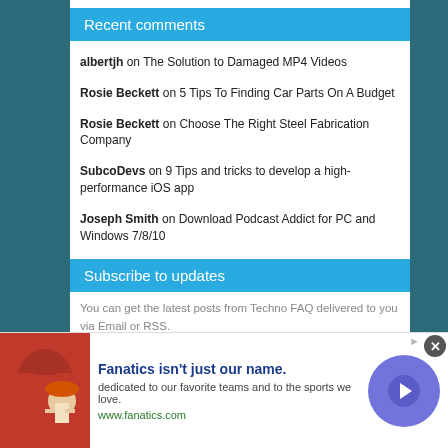Recent comments
albertjh on The Solution to Damaged MP4 Videos
Rosie Beckett on 5 Tips To Finding Car Parts On A Budget
Rosie Beckett on Choose The Right Steel Fabrication Company
SubcoDevs on 9 Tips and tricks to develop a high-performance iOS app
Joseph Smith on Download Podcast Addict for PC and Windows 7/8/10
Subscribe to updates
You can get the latest posts from Techno FAQ delivered to you via Email or RSS.
[Figure (infographic): Advertisement banner for Fanatics with product image, tagline 'Fanatics isn't just our name.', description text, website URL, and a circular arrow navigation button.]